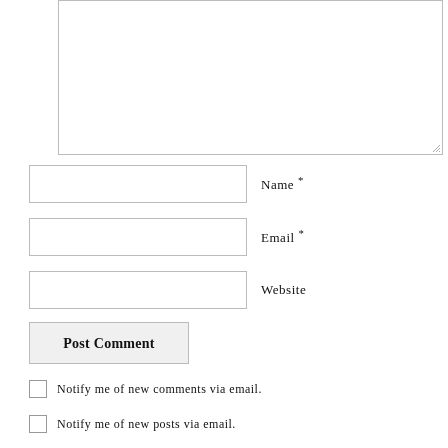[Figure (screenshot): Comment textarea input box (partially visible, top portion cut off)]
Name *
Email *
Website
Post Comment
Notify me of new comments via email.
Notify me of new posts via email.